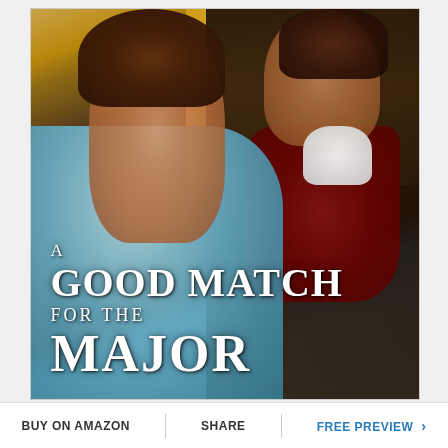[Figure (illustration): Book cover for 'A Good Match for the Major' showing a woman in a blue Regency-era dress with an updo hairstyle and gold accessories, facing a man in a dark coat with a red vest and white cravat. The title text appears in white serif font at the bottom of the cover.]
BUY ON AMAZON
SHARE
FREE PREVIEW >